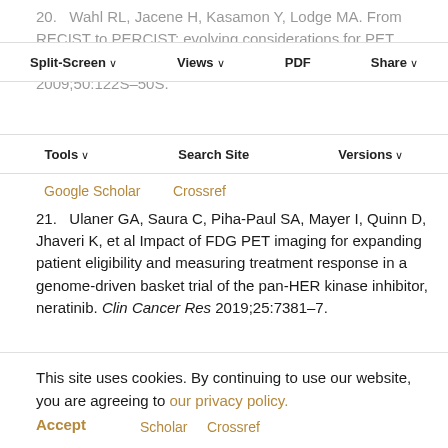20. Wahl RL, Jacene H, Kasamon Y, Lodge MA. From RECIST to PERCIST: evolving considerations for PET response criteria in solid tumors. J Nucl Med 2009;50:122S–50S.
Google Scholar   Crossref
21. Ulaner GA, Saura C, Piha-Paul SA, Mayer I, Quinn D, Jhaveri K, et al Impact of FDG PET imaging for expanding patient eligibility and measuring treatment response in a genome-driven basket trial of the pan-HER kinase inhibitor, neratinib. Clin Cancer Res 2019;25:7381–7.
Google Scholar   Crossref
22. Shen R, Seshan VE. FACETS: allele-specific copy number and clonal heterogeneity analysis tool for high-throughput DNA sequencing. Nucleic Acids Res
This site uses cookies. By continuing to use our website, you are agreeing to our privacy policy. Accept